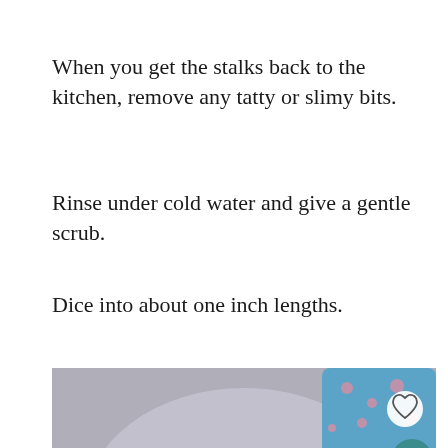When you get the stalks back to the kitchen, remove any tatty or slimy bits.
Rinse under cold water and give a gentle scrub.
Dice into about one inch lengths.
[Figure (photo): Person in grey shirt and blue patterned sleeves using a knife to chop vegetables on a wooden cutting board, viewed from above. Social media overlay buttons (heart, share) and a 'What's Next: Easy Homemade...' thumbnail visible.]